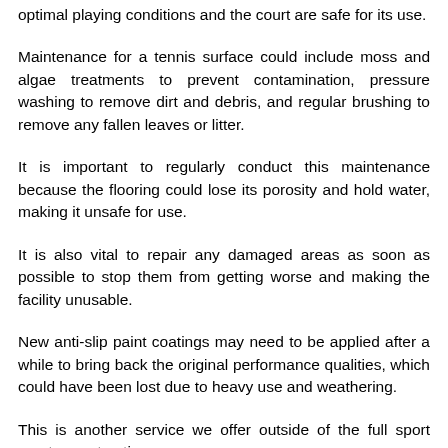optimal playing conditions and the court are safe for its use.
Maintenance for a tennis surface could include moss and algae treatments to prevent contamination, pressure washing to remove dirt and debris, and regular brushing to remove any fallen leaves or litter.
It is important to regularly conduct this maintenance because the flooring could lose its porosity and hold water, making it unsafe for use.
It is also vital to repair any damaged areas as soon as possible to stop them from getting worse and making the facility unusable.
New anti-slip paint coatings may need to be applied after a while to bring back the original performance qualities, which could have been lost due to heavy use and weathering.
This is another service we offer outside of the full sport courts construction process.
Depending upon the sports surface specifications in Ravernet, a